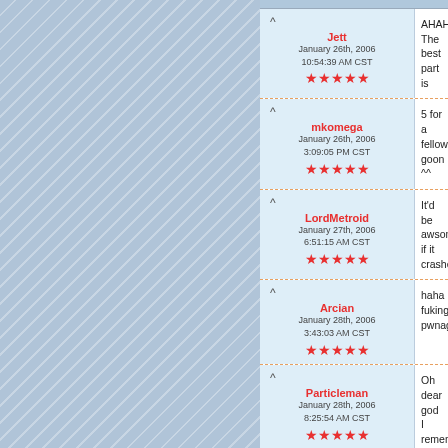Jett | January 26th, 2006 10:54:39 AM CST | ★★★★★ | AHAHAHAHA!! The best part is
mkomega | January 26th, 2006 3:09:05 PM CST | ★★★★★ | 5 for a fellow goon ^^
LordMetroid | January 27th, 2006 6:51:15 AM CST | ★★★★★ | It'd be awsome if it crashed(the
Arcian | January 28th, 2006 3:43:03 AM CST | ★★★★★ | haha fuking pwnage
Particleman | January 28th, 2006 8:25:54 AM CST | ★★★★★ | Oh dear god I remember that. *b